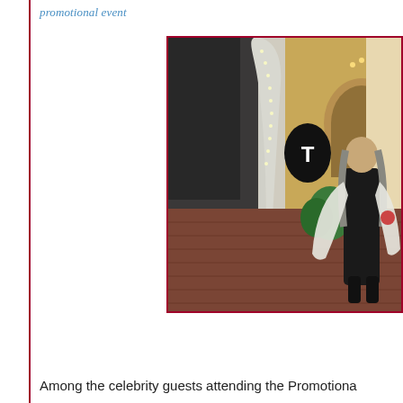promotional event
[Figure (photo): A woman with long gray hair wearing a black lace top and white patterned wrap/cape poses outdoors in front of a decorated palm tree with string lights and a building entrance featuring a black oval sign with letter T and an arched doorway. The ground is brick paving.]
Among the celebrity guests attending the Promotiona